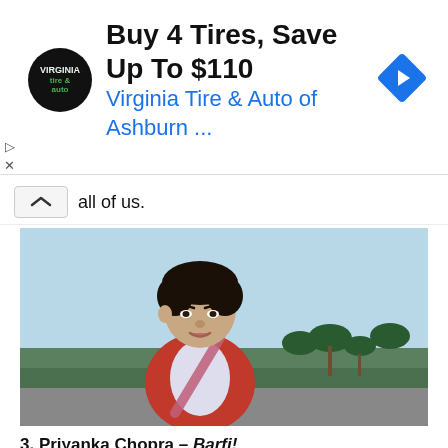[Figure (other): Advertisement banner for Virginia Tire & Auto of Ashburn with logo, headline 'Buy 4 Tires, Save Up To $110', subline 'Virginia Tire & Auto of Ashburn ...', and a blue diamond arrow icon on the right.]
all of us.
[Figure (photo): Photo of Priyanka Chopra in character from Barfi! — a young woman with short curly dark hair wearing a red cardigan and white top with a pink bag strap, set against a rural outdoor background with palm trees and green fields.]
3. Priyanka Chopra – Barfi!
Priyanka Chopra is a polarizing actress, who inevitably